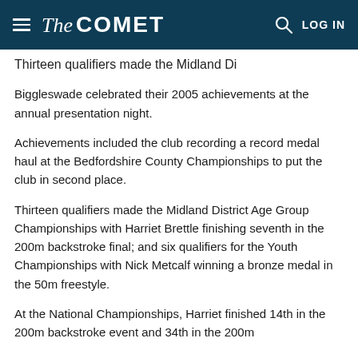The COMET — LOG IN
Thirteen qualifiers made the Midland Di
Biggleswade celebrated their 2005 achievements at the annual presentation night.
Achievements included the club recording a record medal haul at the Bedfordshire County Championships to put the club in second place.
Thirteen qualifiers made the Midland District Age Group Championships with Harriet Brettle finishing seventh in the 200m backstroke final; and six qualifiers for the Youth Championships with Nick Metcalf winning a bronze medal in the 50m freestyle.
At the National Championships, Harriet finished 14th in the 200m backstroke event and 34th in the 200m